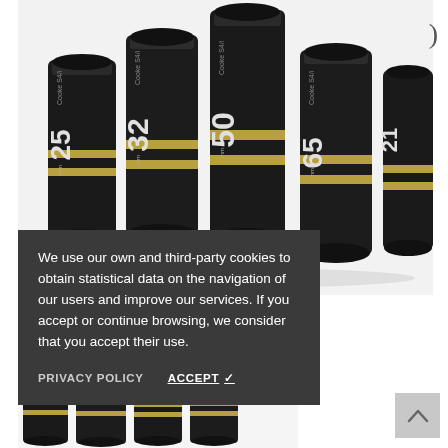[Figure (photo): Several Cooke S4i cinema camera lenses (25mm, 32mm, 50mm, 65mm) arranged together, black with gold rings, shot on white background.]
We use our own and third-party cookies to obtain statistical data on the navigation of our users and improve our services. If you accept or continue browsing, we consider that you accept their use.
PRIVACY POLICY   ACCEPT ✓
[Figure (photo): Smaller Cooke lenses arranged in a row at the bottom of the page, partially visible.]